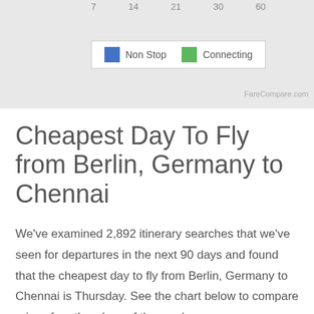[Figure (other): Partial bar chart legend showing Non Stop (blue) and Connecting (green) flight types, with axis tick numbers 7, 14, 21, 30, 60 visible at top]
FareCompare.com
Cheapest Day To Fly from Berlin, Germany to Chennai
We've examined 2,892 itinerary searches that we've seen for departures in the next 90 days and found that the cheapest day to fly from Berlin, Germany to Chennai is Thursday. See the chart below to compare prices for other days of the week.